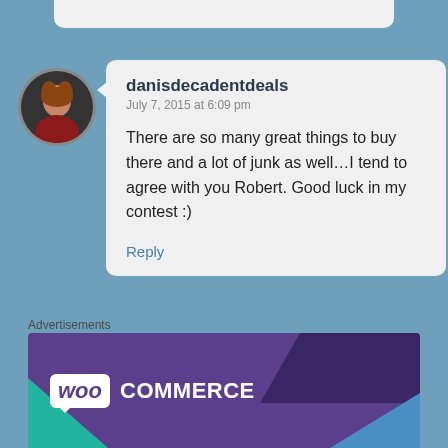[Figure (screenshot): Top stub of a previous comment card, partially visible at the top of the page]
danisdecadentdeals
July 7, 2015 at 6:09 pm

There are so many great things to buy there and a lot of junk as well...I tend to agree with you Robert. Good luck in my contest :)

Reply
Advertisements
[Figure (logo): WooCommerce advertisement banner with purple background, teal and blue triangles, and WooCommerce logo in white]